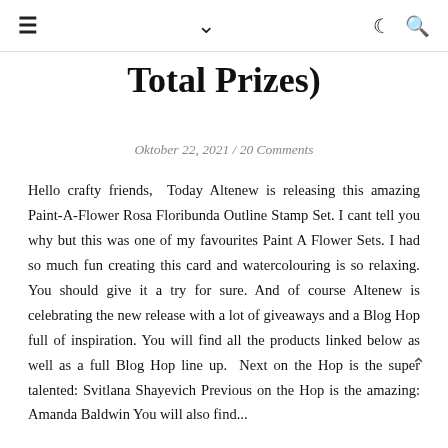≡  ∨  ☽ 🔍
Total Prizes)
Oktober 22, 2021 / 20 Comments
Hello crafty friends,  Today Altenew is releasing this amazing Paint-A-Flower Rosa Floribunda Outline Stamp Set. I cant tell you why but this was one of my favourites Paint A Flower Sets. I had so much fun creating this card and watercolouring is so relaxing. You should give it a try for sure. And of course Altenew is celebrating the new release with a lot of giveaways and a Blog Hop full of inspiration. You will find all the products linked below as well as a full Blog Hop line up.  Next on the Hop is the super talented: Svitlana Shayevich Previous on the Hop is the amazing: Amanda Baldwin You will also find...